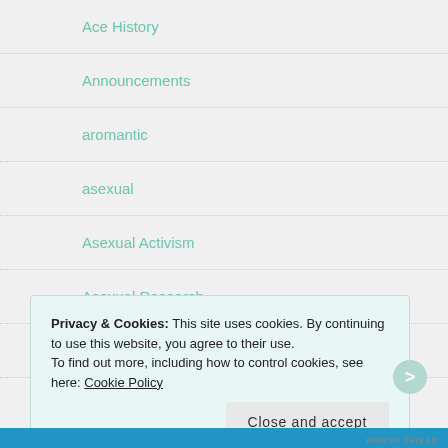Ace History
Announcements
aromantic
asexual
Asexual Activism
Asexual Research
Awareness Outreach and Education
Privacy & Cookies: This site uses cookies. By continuing to use this website, you agree to their use.
To find out more, including how to control cookies, see here: Cookie Policy
Close and accept